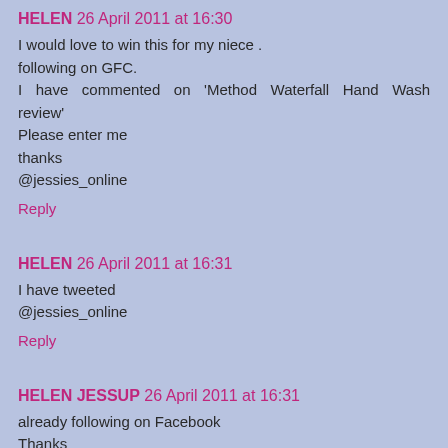HELEN 26 April 2011 at 16:30
I would love to win this for my niece .
following on GFC.
I have commented on 'Method Waterfall Hand Wash review'
Please enter me
thanks
@jessies_online
Reply
HELEN 26 April 2011 at 16:31
I have tweeted
@jessies_online
Reply
HELEN JESSUP 26 April 2011 at 16:31
already following on Facebook
Thanks